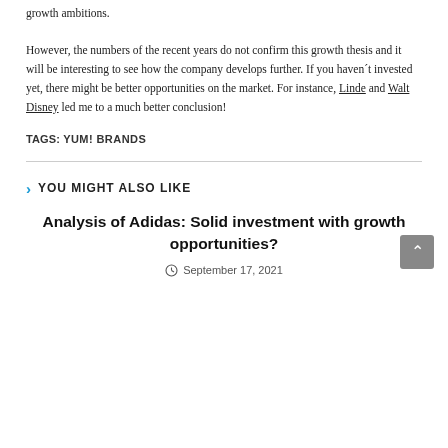growth ambitions.
However, the numbers of the recent years do not confirm this growth thesis and it will be interesting to see how the company develops further. If you haven´t invested yet, there might be better opportunities on the market. For instance, Linde and Walt Disney led me to a much better conclusion!
TAGS: YUM! BRANDS
YOU MIGHT ALSO LIKE
Analysis of Adidas: Solid investment with growth opportunities?
September 17, 2021